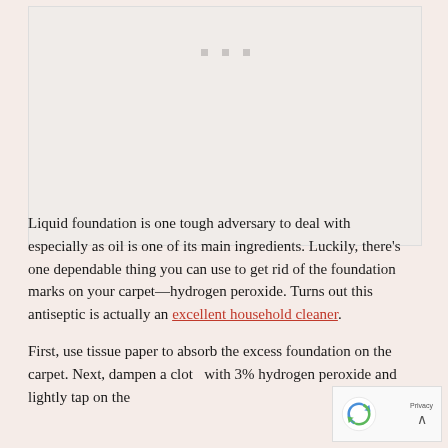[Figure (other): Placeholder image area with three grey dots centered near the top, representing an image loading or placeholder block.]
Liquid foundation is one tough adversary to deal with especially as oil is one of its main ingredients. Luckily, there's one dependable thing you can use to get rid of the foundation marks on your carpet—hydrogen peroxide. Turns out this antiseptic is actually an excellent household cleaner.
First, use tissue paper to absorb the excess foundation on the carpet. Next, dampen a cloth with 3% hydrogen peroxide and lightly tap on the